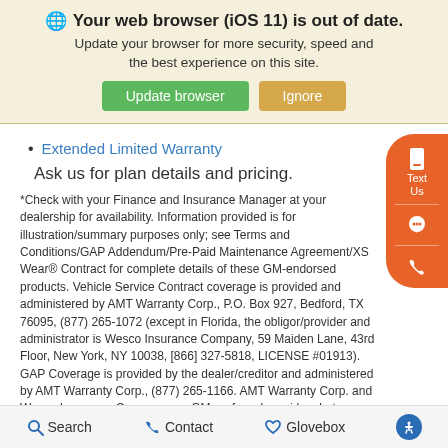[Figure (screenshot): Browser update warning banner with globe icon, title 'Your web browser (iOS 11) is out of date.', subtitle text, and two buttons: 'Update browser' (green) and 'Ignore' (tan/gold)]
Extended Limited Warranty
Ask us for plan details and pricing.
*Check with your Finance and Insurance Manager at your dealership for availability. Information provided is for illustration/summary purposes only; see Terms and Conditions/GAP Addendum/Pre-Paid Maintenance Agreement/XS Wear® Contract for complete details of these GM-endorsed products. Vehicle Service Contract coverage is provided and administered by AMT Warranty Corp., P.O. Box 927, Bedford, TX 76095, (877) 265-1072 (except in Florida, the obligor/provider and administrator is Wesco Insurance Company, 59 Maiden Lane, 43rd Floor, New York, NY 10038, [866] 327-5818, LICENSE #01913). GAP Coverage is provided by the dealer/creditor and administered by AMT Warranty Corp., (877) 265-1166. AMT Warranty Corp. and Wesco Insurance Company are GM-preferred providers but
Search  Contact  Glovebox  (accessibility icon)